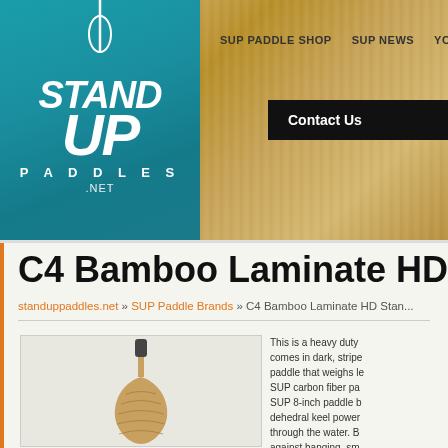Stand Up Paddles .NET — SUP PADDLE SHOP | SUP NEWS | YOUR | Contact Us
C4 Bamboo Laminate HD Stand Up Padd...
standuppaddles.net » SUP Paddle Brands » C4 Bamboo Laminate HD Stan...
[Figure (photo): C4 Bamboo Laminate HD Stand Up Paddle — wooden paddle blade with dark handle, shown vertically]
This is a heavy duty comes in dark, stripe paddle that weighs le SUP carbon fiber pa SUP 8-inch paddle b dehedral keel power through the water. B against banging, sm blade (which makes the finished paddle is in dark, striped and